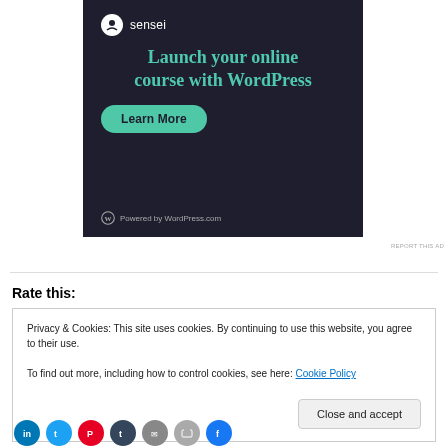[Figure (infographic): Sensei advertisement banner on dark background: sensei logo top left, headline 'Launch your online course with WordPress', green 'Learn More' button, 'Powered by WordPress.com' at bottom]
REPORT THIS AD
Rate this:
Privacy & Cookies: This site uses cookies. By continuing to use this website, you agree to their use.
To find out more, including how to control cookies, see here: Cookie Policy
Close and accept